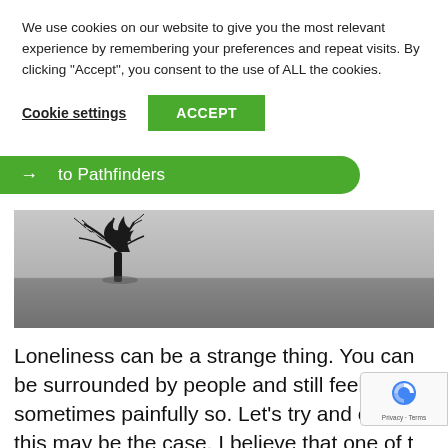We use cookies on our website to give you the most relevant experience by remembering your preferences and repeat visits. By clicking “Accept”, you consent to the use of ALL the cookies.
Cookie settings   ACCEPT
→ to Pathfinders
[Figure (photo): Black and white landscape photo of a bare tree on a flat plain or shoreline, with a wide open sky and distant horizon.]
Loneliness can be a strange thing. You can be surrounded by people and still feel lonely, sometimes painfully so. Let’s try and explore this may be the case. I believe that one of t…